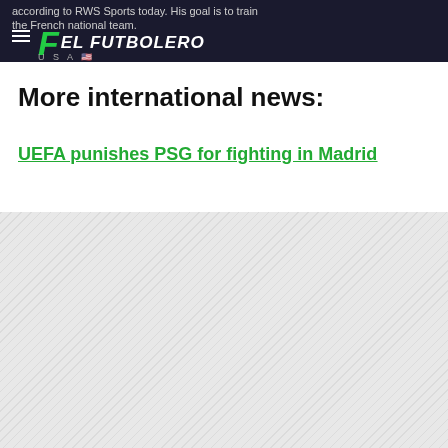according to RWS Sports today. His goal is to train the French national team. EL FUTBOLERO USA
More international news:
UEFA punishes PSG for fighting in Madrid